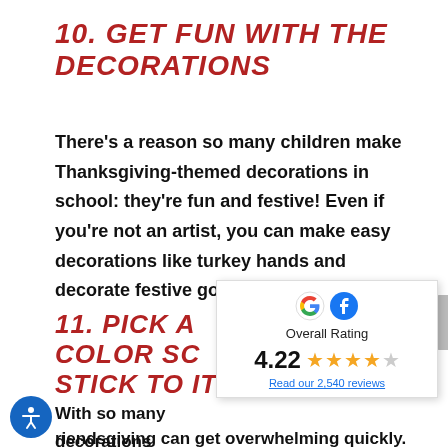10. GET FUN WITH THE DECORATIONS
There’s a reason so many children make Thanksgiving-themed decorations in school: they’re fun and festive! Even if you’re not an artist, you can make easy decorations like turkey hands and decorate festive gold banners.
11. PICK A COLOR SC[HEME AND] STICK TO IT
With so many decorations [available,] friendsgiving can get overwhelming quickly.
[Figure (infographic): Google and Facebook logo overlay. Overall Rating widget showing 4.22 out of 5 stars with text 'Read our 2,540 reviews']